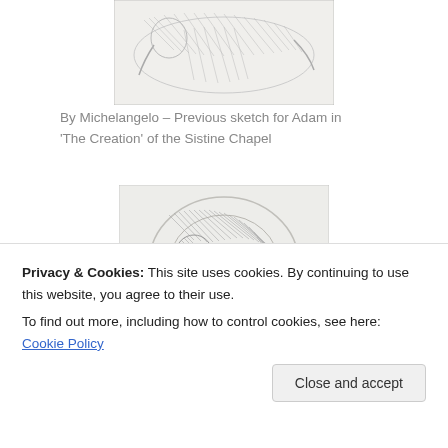[Figure (illustration): A pencil sketch by Michelangelo showing a reclining figure, previous sketch for Adam in 'The Creation' of the Sistine Chapel]
By Michelangelo – Previous sketch for Adam in 'The Creation' of the Sistine Chapel
[Figure (illustration): A detailed pencil sketch showing a curled or hunched figure, part of Michelangelo's studies related to the Sistine Chapel]
Privacy & Cookies: This site uses cookies. By continuing to use this website, you agree to their use.
To find out more, including how to control cookies, see here: Cookie Policy